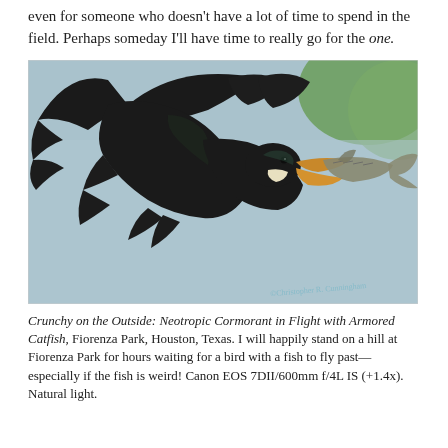even for someone who doesn't have a lot of time to spend in the field. Perhaps someday I'll have time to really go for the one.
[Figure (photo): A black Neotropic Cormorant in flight against a blue-grey and green blurred background, holding an armored catfish in its open beak. The bird's wings are spread upward. A watermark reads '©Christopher R. Cunningham' in the lower right corner.]
Crunchy on the Outside: Neotropic Cormorant in Flight with Armored Catfish, Fiorenza Park, Houston, Texas. I will happily stand on a hill at Fiorenza Park for hours waiting for a bird with a fish to fly past—especially if the fish is weird! Canon EOS 7DII/600mm f/4L IS (+1.4x). Natural light.